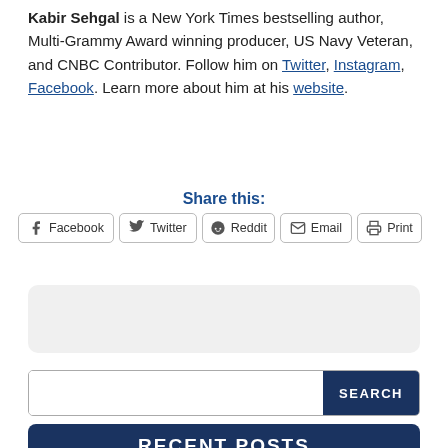Kabir Sehgal is a New York Times bestselling author, Multi-Grammy Award winning producer, US Navy Veteran, and CNBC Contributor. Follow him on Twitter, Instagram, Facebook. Learn more about him at his website.
Share this:
[Figure (other): Share buttons row: Facebook, Twitter, Reddit, Email, Print]
[Figure (other): Gray rounded rectangle placeholder box]
[Figure (other): Search bar with white input field and dark navy SEARCH button]
RECENT POSTS
How Catherine Marie Charlton handles 2+ careers (Pianist, Exec Director)